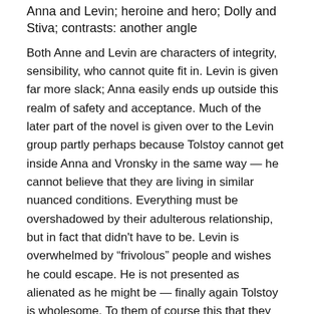Anna and Levin; heroine and hero; Dolly and Stiva; contrasts: another angle
Both Anne and Levin are characters of integrity, sensibility, who cannot quite fit in. Levin is given far more slack; Anna easily ends up outside this realm of safety and acceptance. Much of the later part of the novel is given over to the Levin group partly perhaps because Tolstoy cannot get inside Anna and Vronsky in the same way — he cannot believe that they are living in similar nuanced conditions. Everything must be overshadowed by their adulterous relationship, but in fact that didn't have to be. Levin is overwhelmed by “frivolous” people and wishes he could escape. He is not presented as alienated as he might be — finally again Tolstoy is wholesome. To them of course this that they are expending their lives on is not frivolous; the trivia of existence – water in jam, picking